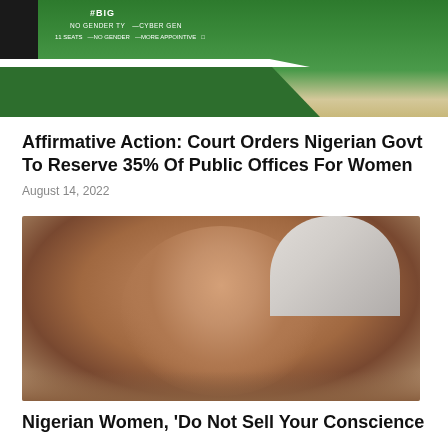[Figure (photo): Green banner/placard on the ground with text about seats, gender parity, and more appointive positions, with a dark object on the left side]
Affirmative Action: Court Orders Nigerian Govt To Reserve 35% Of Public Offices For Women
August 14, 2022
[Figure (photo): Portrait photo of a Nigerian woman wearing a white traditional head wrap and light-colored attire, smiling at the camera]
Nigerian Women, 'Do Not Sell Your Conscience